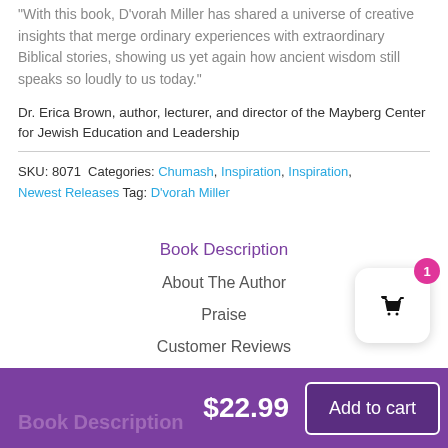"With this book, D'vorah Miller has shared a universe of creative insights that merge ordinary experiences with extraordinary Biblical stories, showing us yet again how ancient wisdom still speaks so loudly to us today."
Dr. Erica Brown, author, lecturer, and director of the Mayberg Center for Jewish Education and Leadership
SKU: 8071  Categories: Chumash, Inspiration, Inspiration, Newest Releases  Tag: D'vorah Miller
Book Description
About The Author
Praise
Customer Reviews
$22.99
Add to cart
Book Description